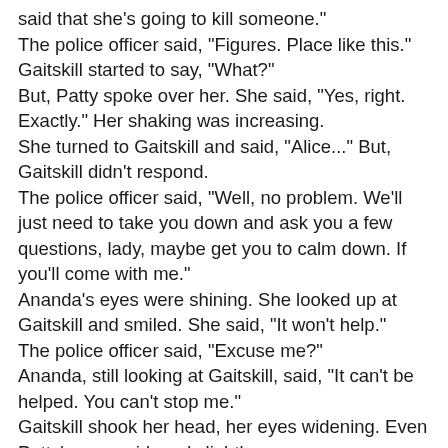said that she's going to kill someone."
The police officer said, "Figures. Place like this."
Gaitskill started to say, "What?"
But, Patty spoke over her. She said, "Yes, right. Exactly." Her shaking was increasing.
She turned to Gaitskill and said, "Alice..." But, Gaitskill didn't respond.
The police officer said, "Well, no problem. We'll just need to take you down and ask you a few questions, lady, maybe get you to calm down. If you'll come with me."
Ananda's eyes were shining. She looked up at Gaitskill and smiled. She said, "It won't help."
The police officer said, "Excuse me?"
Ananda, still looking at Gaitskill, said, "It can't be helped. You can't stop me."
Gaitskill shook her head, her eyes widening. Even Patty's eyes widened slightly.
The police officer said, "Are you threatening me?!"
Ananda said, "No, I-"
The police officer said, "You are under arrest. Put your hands above your head and then slowly stand up."
Ananda said, "I can't..." She reached her hand out to